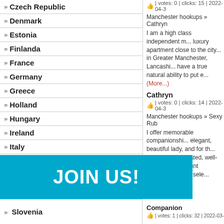» Czech Republic
» Denmark
» Estonia
» Finlanda
» France
» Germany
» Greece
» Holland
» Hungary
» Ireland
» Italy
» Lithuania
» Norway
» Poland
» Portugal
» Romania
» Slovenia
Helena | votes: 0 | clicks: 15 | 2022-04-3
Manchester hookups » Cathryn
I am a high class independent m... luxury apartment close to the city... in Greater Manchester, Lancashi... have a true natural ability to put e... (More...)
Cathryn | votes: 0 | clicks: 14 | 2022-04-3
Manchester hookups » Sexy Rub
I offer memorable companionshi... elegant, beautiful lady, and for th... stylish, sophisticated, well-educa... paramount importance. I am sele... (More...)
Sexy Ruby | votes: 0 | clicks: 19 | 2022-04-0
Manchester hookups » Indian Co
An Indian hookup Girl who is the... spoken, articulate with a stunnin... hair, olive skin, brown eyes and a... and shopping! Providing...
Companion | votes: 1 | clicks: 32 | 2022-03-
[Figure (other): JOIN US! blue banner button]